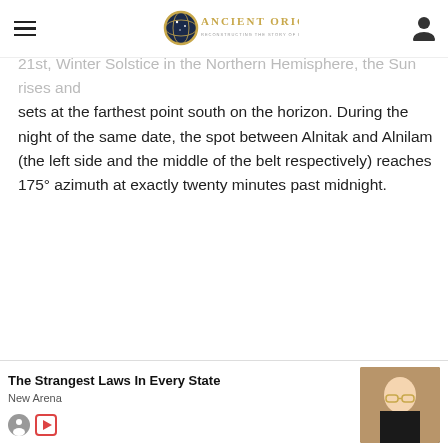Ancient Origins – Reconstructing the story of humanity's past
21st, Winter Solstice in the Northern Hemisphere, the Sun rises and sets at the farthest point south on the horizon. During the night of the same date, the spot between Alnitak and Alnilam (the left side and the middle of the belt respectively) reaches 175° azimuth at exactly twenty minutes past midnight.
The Strangest Laws In Every State
New Arena